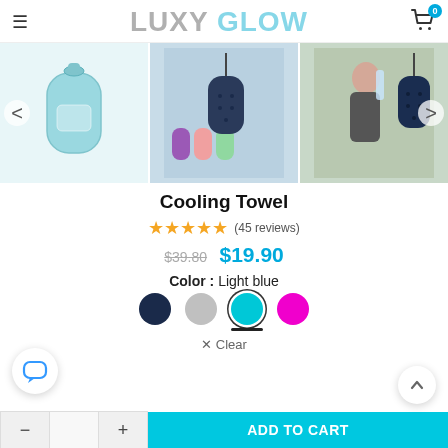LUXY GLOW — Shopping cart (0 items)
[Figure (photo): Three product photos: (1) light blue cooling towel canister container, (2) multiple colored containers with one dark blue hanging version shown against icy background, (3) woman drinking water with dark blue cooling towel canister hanging nearby]
Cooling Towel
★★★★★ (45 reviews)
$39.80  $19.90
Color :  Light blue
× Clear